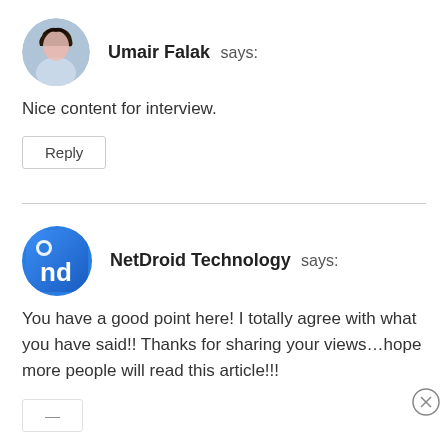[Figure (photo): Circular avatar photo of a woman with dark hair]
Umair Falak says:
Nice content for interview.
Reply
[Figure (logo): NetDroid Technology logo — blue square with 'nd' letters]
NetDroid Technology says:
You have a good point here! I totally agree with what you have said!! Thanks for sharing your views…hope more people will read this article!!!
Reply